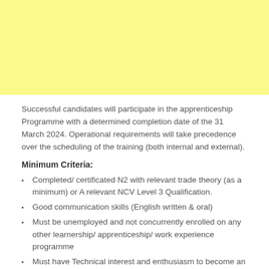[Figure (other): Yellow background decorative block at the top of the page]
Successful candidates will participate in the apprenticeship Programme with a determined completion date of the 31 March 2024. Operational requirements will take precedence over the scheduling of the training (both internal and external).
Minimum Criteria:
Completed/ certificated N2 with relevant trade theory (as a minimum) or A relevant NCV Level 3 Qualification.
Good communication skills (English written & oral)
Must be unemployed and not concurrently enrolled on any other learnership/ apprenticeship/ work experience programme
Must have Technical interest and enthusiasm to become an artisan